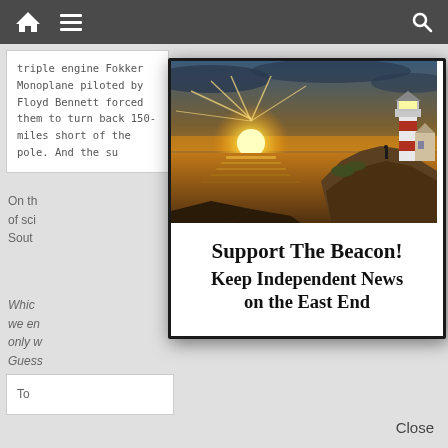Navigation bar with home, menu, and search icons
triple engine Fokker Monoplane piloted by Floyd Bennett forced them to turn back 150-miles short of the pole. And the su[bsequent...]
On th[e other hand, the field] of sci[ence...] Sout[h...]
Whic[h...] we en[...] only w[...] Guess[...]
To[...]
[Figure (photo): Sunset over ocean with lighthouse on rocky cliff]
Support The Beacon! Keep Independent News on the East End
Close